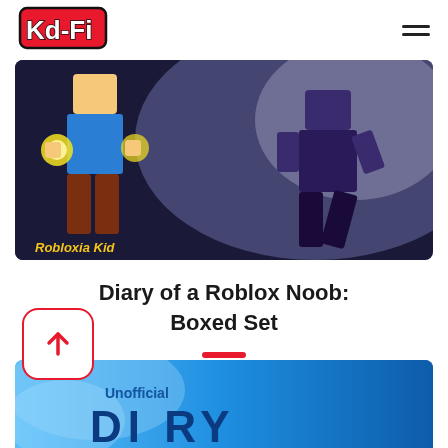Kid-Fi
[Figure (illustration): Book cover image for 'Diary of a Roblox Noob: Boxed Set' showing two Roblox-style characters — one with yellow glowing hands and brown pants on the left, one dark purple on the right — against a dark blue background. Yellow text reads 'Robloxia Kid' at bottom left.]
Diary of a Roblox Noob: Boxed Set
[Figure (illustration): Partially visible bottom book cover with blue gradient background showing 'Unofficial' in blue text and large dark blue block letters partially visible at the bottom edge.]